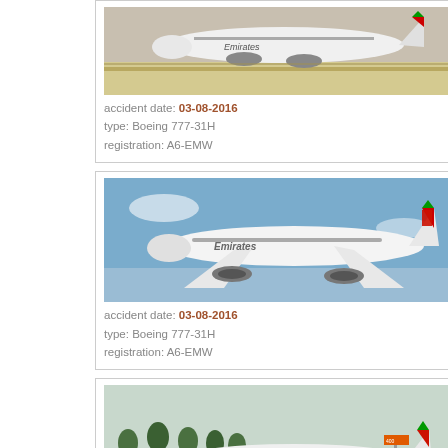[Figure (photo): Emirates Boeing 777 aircraft on runway/taxiway, top portion visible]
accident date: 03-08-2016
type: Boeing 777-31H
registration: A6-EMW
[Figure (photo): Emirates Boeing 777 aircraft in flight against blue sky]
accident date: 03-08-2016
type: Boeing 777-31H
registration: A6-EMW
[Figure (photo): Emirates Boeing 777 aircraft on ground with trees in background]